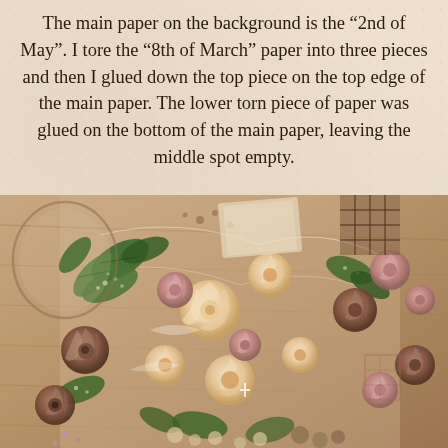The main paper on the background is the "2nd of May". I tore the "8th of March" paper into three pieces and then I glued down the top piece on the top edge of the main paper. The lower torn piece of paper was glued on the bottom of the main paper, leaving the middle spot empty.
[Figure (photo): Close-up photograph of a mixed-media scrapbook or floral arrangement featuring cream, peach, and dusty pink paper roses, green leaves, lace, and various embellishments on a vintage patterned background.]